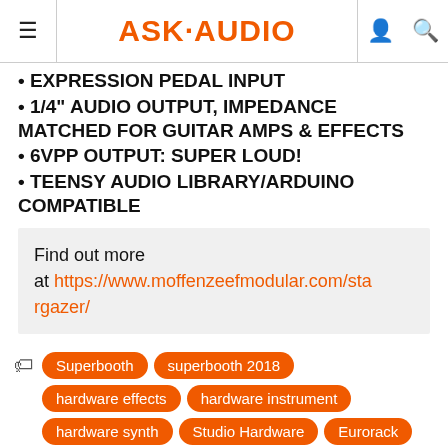ASK·AUDIO
EXPRESSION PEDAL INPUT
1/4" AUDIO OUTPUT, IMPEDANCE MATCHED FOR GUITAR AMPS & EFFECTS
6VPP OUTPUT: SUPER LOUD!
TEENSY AUDIO LIBRARY/ARDUINO COMPATIBLE
Find out more at https://www.moffenzeefmodular.com/stargazer/
Tags: Superbooth, superbooth 2018, hardware effects, hardware instrument, hardware synth, Studio Hardware, Eurorack